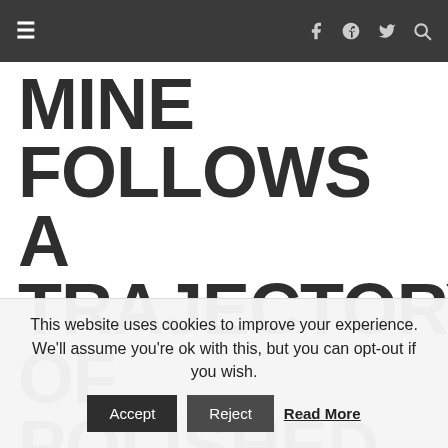≡  f  g+  🐦  🔍
MINE  FOLLOWS A TRAJECTORY OF POLISHED SONGWRITING AND INNOVATIVE PRODUCTION
This website uses cookies to improve your experience. We'll assume you're ok with this, but you can opt-out if you wish.
Accept   Reject   Read More